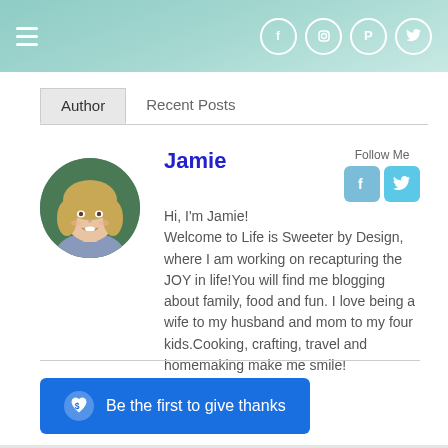Navigation header with hamburger menu and social icons (Facebook, Instagram, Pinterest, Twitter)
Author | Recent Posts
Jamie
Follow Me
Hi, I'm Jamie! Welcome to Life is Sweeter by Design, where I am working on recapturing the JOY in life!You will find me blogging about family, food and fun. I love being a wife to my husband and mom to my four kids.Cooking, crafting, travel and homemaking make me smile!
Be the first to give thanks